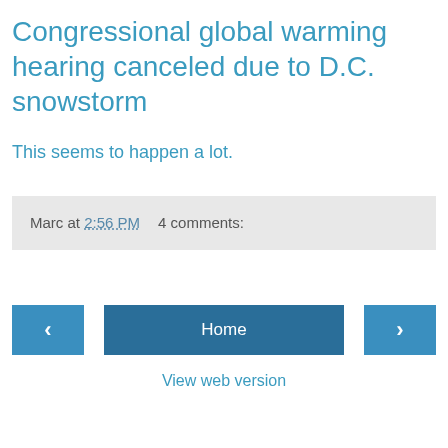Congressional global warming hearing canceled due to D.C. snowstorm
This seems to happen a lot.
Marc at 2:56 PM    4 comments:
‹   Home   ›
View web version